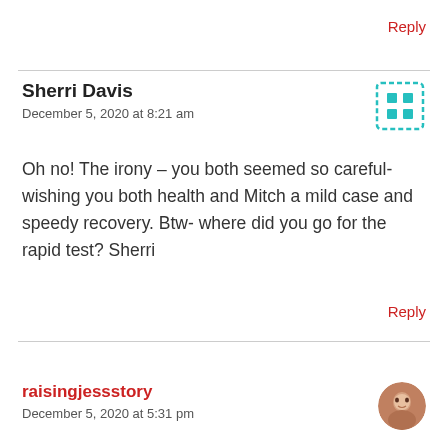Reply
Sherri Davis
December 5, 2020 at 8:21 am
Oh no! The irony – you both seemed so careful- wishing you both health and Mitch a mild case and speedy recovery. Btw- where did you go for the rapid test? Sherri
Reply
raisingjessstory
December 5, 2020 at 5:31 pm